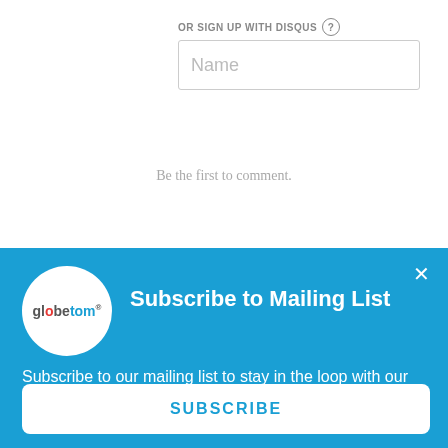OR SIGN UP WITH DISQUS ?
Name
Be the first to comment.
Subscribe to Mailing List
[Figure (logo): Globetom logo — circular white badge with 'globetom' text and registered trademark symbol]
Subscribe to our mailing list to stay in the loop with our latest updates.
SUBSCRIBE